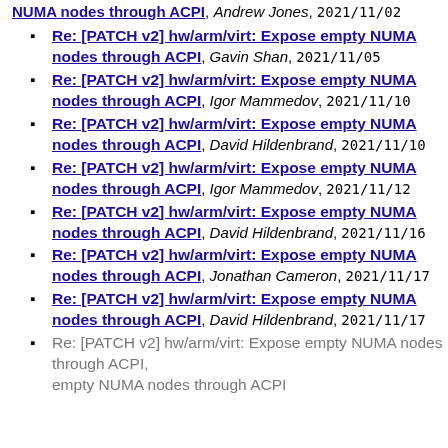NUMA nodes through ACPI, Andrew Jones, 2021/11/02
Re: [PATCH v2] hw/arm/virt: Expose empty NUMA nodes through ACPI, Gavin Shan, 2021/11/05
Re: [PATCH v2] hw/arm/virt: Expose empty NUMA nodes through ACPI, Igor Mammedov, 2021/11/10
Re: [PATCH v2] hw/arm/virt: Expose empty NUMA nodes through ACPI, David Hildenbrand, 2021/11/10
Re: [PATCH v2] hw/arm/virt: Expose empty NUMA nodes through ACPI, Igor Mammedov, 2021/11/12
Re: [PATCH v2] hw/arm/virt: Expose empty NUMA nodes through ACPI, David Hildenbrand, 2021/11/16
Re: [PATCH v2] hw/arm/virt: Expose empty NUMA nodes through ACPI, Jonathan Cameron, 2021/11/17
Re: [PATCH v2] hw/arm/virt: Expose empty NUMA nodes through ACPI, David Hildenbrand, 2021/11/17
Re: [PATCH v2] hw/arm/virt: Expose empty NUMA nodes through ACPI